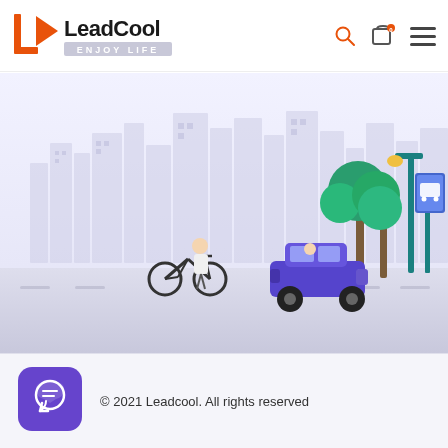[Figure (logo): LeadCool logo with orange play button icon and text 'LeadCool ENJOY LIFE']
[Figure (illustration): Street scene illustration with purple city skyline buildings, a cyclist, a purple jeep, trees, a bus stop, and a street lamp on a grey road]
[Figure (logo): Purple rounded square icon with white chat/message symbol]
© 2021 Leadcool. All rights reserved